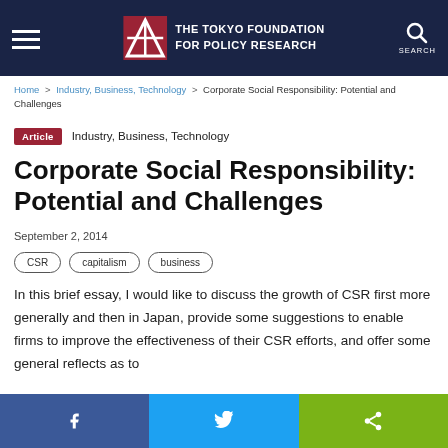THE TOKYO FOUNDATION FOR POLICY RESEARCH
Home > Industry, Business, Technology > Corporate Social Responsibility: Potential and Challenges
Article   Industry, Business, Technology
Corporate Social Responsibility: Potential and Challenges
September 2, 2014
CSR
capitalism
business
In this brief essay, I would like to discuss the growth of CSR first more generally and then in Japan, provide some suggestions to enable firms to improve the effectiveness of their CSR efforts, and offer some general reflects as to